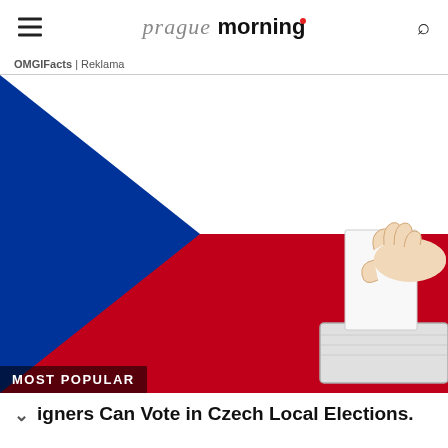prague morning
OMGIFacts | Reklama
[Figure (illustration): Czech flag with a hand inserting a ballot into a voting box, illustrating voting in Czech local elections.]
MOST POPULAR
igners Can Vote in Czech Local Elections.